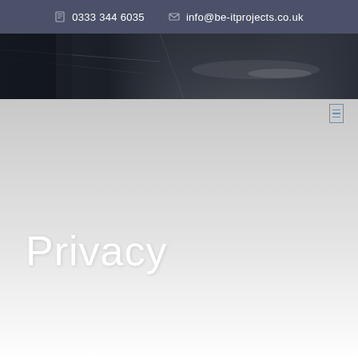0333 344 6035    info@be-itprojects.co.uk
[Figure (photo): Dark overhead photo of an office or server room environment, partial view, used as hero banner image]
Privacy